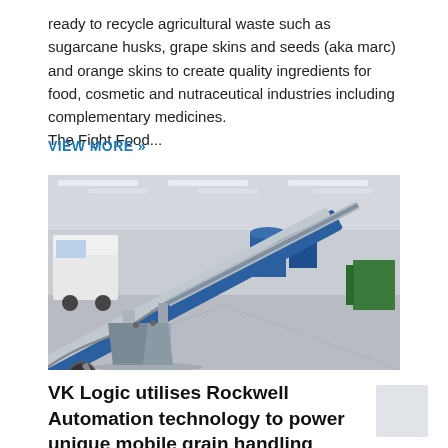ready to recycle agricultural waste such as sugarcane husks, grape skins and seeds (aka marc) and orange skins to create quality ingredients for food, cosmetic and nutraceutical industries including complementary medicines.
The Fight Food...
VIEW MORE »
[Figure (photo): Industrial warehouse photograph showing a large mobile grain handling conveyor/auger machine in silver and blue, mounted on wheels, positioned in a large industrial facility with trucks and other equipment in the background.]
VK Logic utilises Rockwell Automation technology to power unique mobile grain handling solution